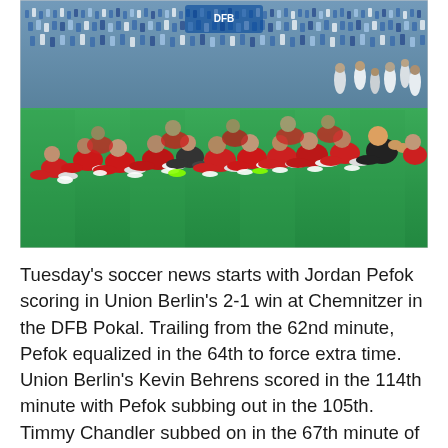[Figure (photo): A group of soccer players in red uniforms sitting on a green pitch after a match, with crowd and stadium visible in the background. Players appear to be from Eintracht Frankfurt or a German Bundesliga club celebrating or resting after a game.]
Tuesday's soccer news starts with Jordan Pefok scoring in Union Berlin's 2-1 win at Chemnitzer in the DFB Pokal. Trailing from the 62nd minute, Pefok equalized in the 64th to force extra time. Union Berlin's Kevin Behrens scored in the 114th minute with Pefok subbing out in the 105th. Timmy Chandler subbed on in the 67th minute of